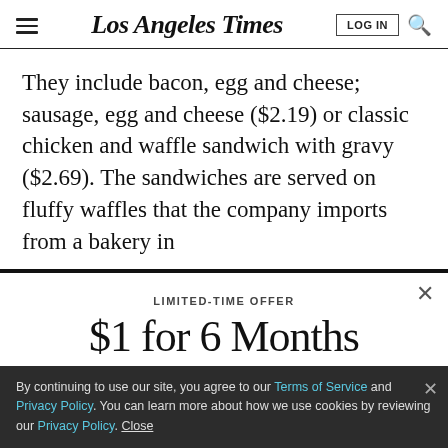Los Angeles Times
They include bacon, egg and cheese; sausage, egg and cheese ($2.19) or classic chicken and waffle sandwich with gravy ($2.69). The sandwiches are served on fluffy waffles that the company imports from a bakery in
LIMITED-TIME OFFER
$1 for 6 Months
SUBSCRIBE NOW
By continuing to use our site, you agree to our Terms of Service and Privacy Policy. You can learn more about how we use cookies by reviewing our Privacy Policy. Close